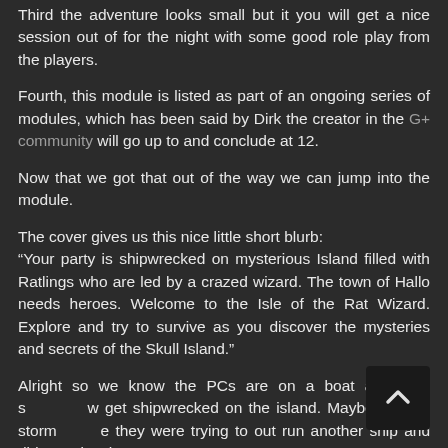Third the adventure looks small but it you will get a nice session out of for the night with some good role play from the players.
Fourth, this module is listed as part of an ongoing series of modules, which has been said by Dirk the creator in the G+ community will go up to and conclude at 12.
Now that we got that out of the way we can jump into the module.
The cover gives us this nice little short blurb:
“Your party is shipwrecked on mysterious Island filled with Ratlings who are led by a crazed wizard. The town of Hallo needs heroes. Welcome to the Isle of the Rat Wizard. Explore and try to survive as you discover the mysteries and secrets of the Skull Island.”
Alright so we know the PCs are on a boat and they s... w get shipwrecked on the island. Maybe a great storm... e they were trying to out run another ship and didn't notice the